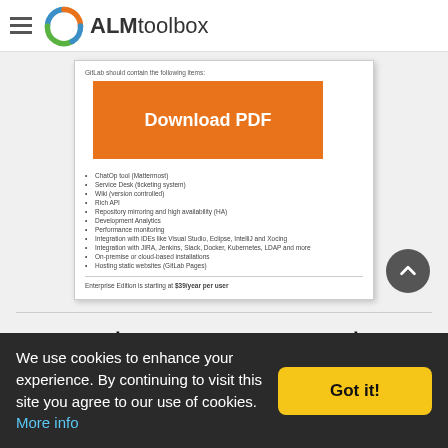ALMtoolbox
[Figure (screenshot): Document preview card with orange 'Download PDF' overlay button and a bulleted list of GitLab features, with a footer note about Enterprise Edition pricing starting at $39/year per user.]
רוצים להיות הראשונים שיודעים על תוכן חדש שאנו מוסיפים על GitLab כאן באתר?
We use cookies to enhance your experience. By continuing to visit this site you agree to our use of cookies. More info